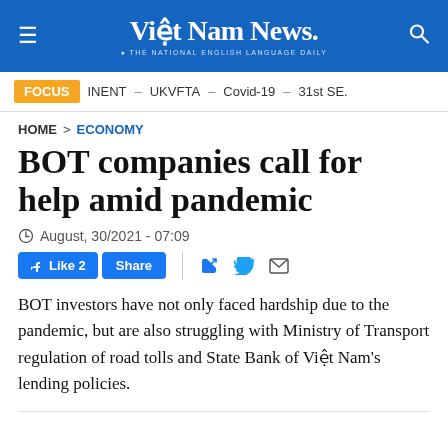Việt Nam News. THE NATIONAL ENGLISH LANGUAGE DAILY
FOCUS  INENT – UKVFTA – Covid-19 – 31st SE.
HOME > ECONOMY
BOT companies call for help amid pandemic
August, 30/2021 - 07:09
Like 2  Share  [social icons: Facebook, Twitter, Email]
BOT investors have not only faced hardship due to the pandemic, but are also struggling with Ministry of Transport regulation of road tolls and State Bank of Việt Nam's lending policies.